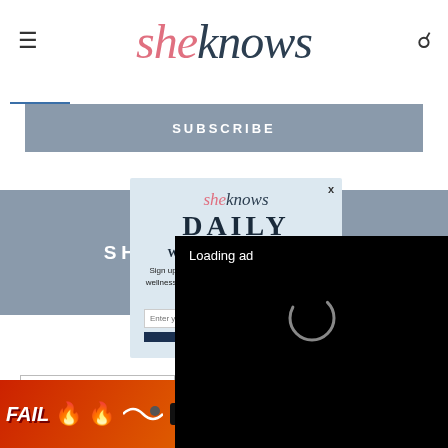sheknows
SUBSCRIBE
[Figure (screenshot): SheKnows Daily newsletter signup modal overlay with logo, 'DAILY' heading, 'Want more stories like this?' headline, body text about celebrity news, wellness trends, #mom hacks, cult products, quick-and-easy recipes, email input field, and submit button]
[Figure (screenshot): Video ad player overlay showing 'Loading ad' text with spinner and playback controls (pause, fullscreen, mute) on black background]
[Figure (screenshot): Banner ad for BitLife game showing 'FAIL', BitLife logo with help icon, flames, and 'START A NEW LIFE' button]